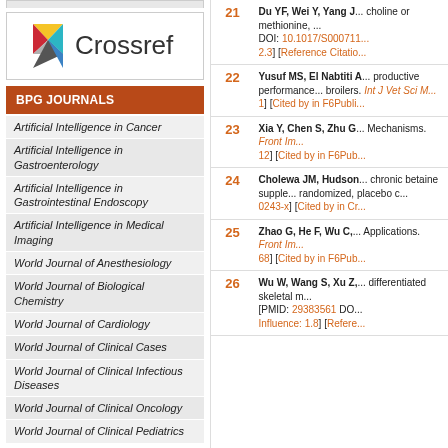[Figure (logo): Crossref logo with colorful geometric shapes and 'Crossref' text]
BPG JOURNALS
Artificial Intelligence in Cancer
Artificial Intelligence in Gastroenterology
Artificial Intelligence in Gastrointestinal Endoscopy
Artificial Intelligence in Medical Imaging
World Journal of Anesthesiology
World Journal of Biological Chemistry
World Journal of Cardiology
World Journal of Clinical Cases
World Journal of Clinical Infectious Diseases
World Journal of Clinical Oncology
World Journal of Clinical Pediatrics
| # | Reference |
| --- | --- |
| 21 | Du YF, Wei Y, Yang J ... choline or methionine, ... DOI: 10.1017/S000711... 2.3] [Reference Citatio... |
| 22 | Yusuf MS, El Nabtiti A ... productive performance ... broilers. Int J Vet Sci M... 1] [Cited by in F6Publi... |
| 23 | Xia Y, Chen S, Zhu G ... Mechanisms. Front Im... 12] [Cited by in F6Pub... |
| 24 | Cholewa JM, Hudson ... chronic betaine supple... randomized, placebo c... 0243-x] [Cited by in Cr... |
| 25 | Zhao G, He F, Wu C, ... Applications. Front Im... 68] [Cited by in F6Pub... |
| 26 | Wu W, Wang S, Xu Z, ... differentiated skeletal m... [PMID: 29383561 DO... Influence: 1.8] [Refere... |